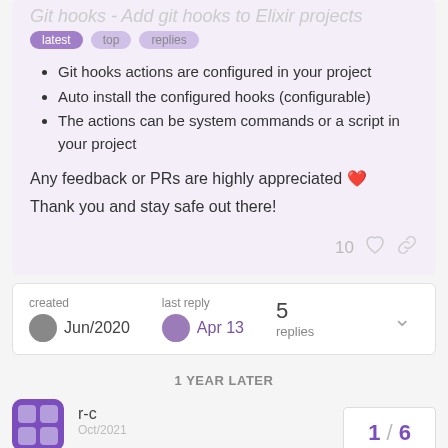Git hooks - Add git hooks to Elixir projects
Git hooks actions are configured in your project
Auto install the configured hooks (configurable)
The actions can be system commands or a script in your project
Any feedback or PRs are highly appreciated ❤️
Thank you and stay safe out there!
10 likes
created Jun/2020  last reply Apr 13  5 replies
1 YEAR LATER
r-c
1 / 6